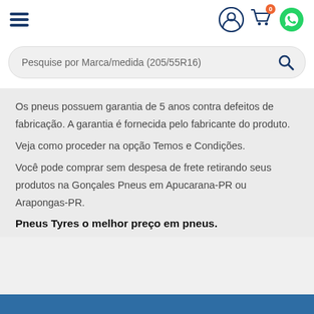[Figure (screenshot): Navigation header with hamburger menu (three horizontal lines in dark blue) on the left, and three icons on the right: user account icon, shopping cart icon with badge showing 0, and WhatsApp green icon]
[Figure (screenshot): Search bar with placeholder text 'Pesquise por Marca/medida (205/55R16)' and a blue magnifying glass icon on the right]
Os pneus possuem garantia de 5 anos contra defeitos de fabricação. A garantia é fornecida pelo fabricante do produto.
Veja como proceder na opção Temos e Condições.
Você pode comprar sem despesa de frete retirando seus produtos na Gonçales Pneus em Apucarana-PR ou Arapongas-PR.
Pneus Tyres o melhor preço em pneus.